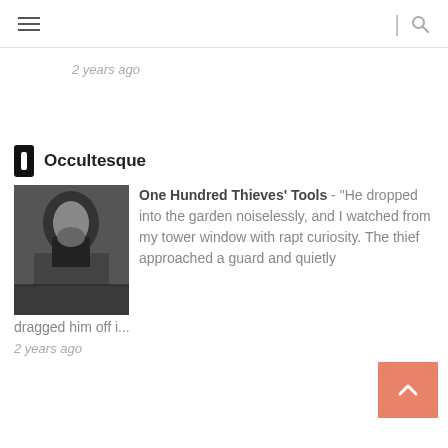≡ | 🔍
2 years ago
Occultesque
One Hundred Thieves' Tools - "He dropped into the garden noiselessly, and I watched from my tower window with rapt curiosity. The thief approached a guard and quietly dragged him off i...
2 years ago